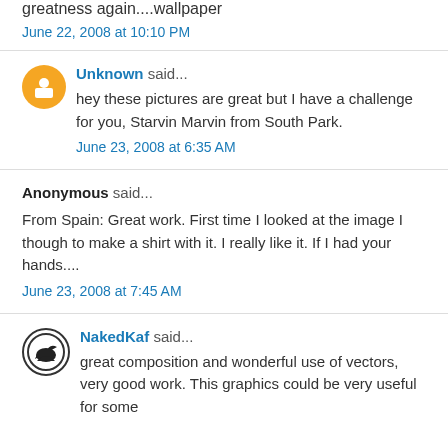greatness again....wallpaper
June 22, 2008 at 10:10 PM
Unknown said...
hey these pictures are great but I have a challenge for you, Starvin Marvin from South Park.
June 23, 2008 at 6:35 AM
Anonymous said...
From Spain: Great work. First time I looked at the image I though to make a shirt with it. I really like it. If I had your hands....
June 23, 2008 at 7:45 AM
NakedKaf said...
great composition and wonderful use of vectors, very good work. This graphics could be very useful for some